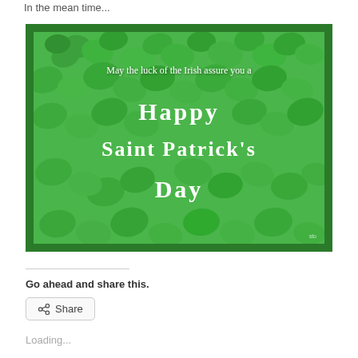In the mean time...
[Figure (illustration): St. Patrick's Day greeting card with shamrock/clover background in green. Text reads: 'May the luck of the Irish assure you a Happy Saint Patrick's Day']
Go ahead and share this.
Share
Loading...